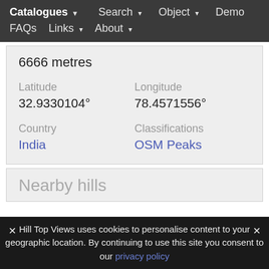Catalogues ▾   Search ▾   Object ▾   Demo   FAQs   Links ▾   About ▾
6666 metres
Latitude
32.9330104°
Longitude
78.4571556°
Country
India
Classifications
OSM Peaks
Nearby hills
✕  Hill Top Views uses cookies to personalise content to your geographic location. By continuing to use this site you consent to our privacy policy  ✕